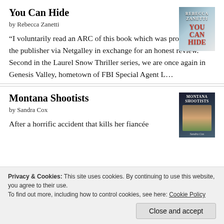You Can Hide
by Rebecca Zanetti
“I voluntarily read an ARC of this book which was provided by the publisher via Netgalley in exchange for an honest review.” Second in the Laurel Snow Thriller series, we are once again in Genesis Valley, hometown of FBI Special Agent L…
[Figure (photo): Book cover of 'You Can Hide' by Rebecca Zanetti]
Montana Shootists
by Sandra Cox
After a horrific accident that kills her fiancée
[Figure (photo): Book cover of 'Montana Shootists' by Sandra Cox]
Privacy & Cookies: This site uses cookies. By continuing to use this website, you agree to their use.
To find out more, including how to control cookies, see here: Cookie Policy
Close and accept